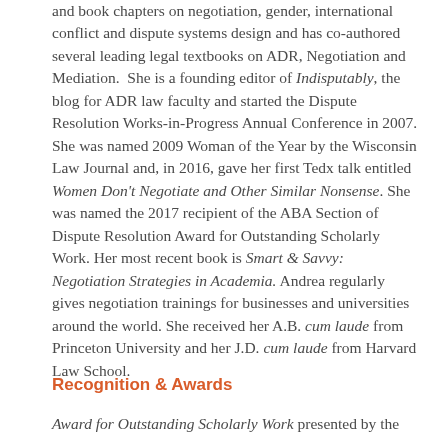and book chapters on negotiation, gender, international conflict and dispute systems design and has co-authored several leading legal textbooks on ADR, Negotiation and Mediation.  She is a founding editor of Indisputably, the blog for ADR law faculty and started the Dispute Resolution Works-in-Progress Annual Conference in 2007. She was named 2009 Woman of the Year by the Wisconsin Law Journal and, in 2016, gave her first Tedx talk entitled Women Don't Negotiate and Other Similar Nonsense. She was named the 2017 recipient of the ABA Section of Dispute Resolution Award for Outstanding Scholarly Work. Her most recent book is Smart & Savvy: Negotiation Strategies in Academia. Andrea regularly gives negotiation trainings for businesses and universities around the world. She received her A.B. cum laude from Princeton University and her J.D. cum laude from Harvard Law School.
Recognition & Awards
Award for Outstanding Scholarly Work presented by the